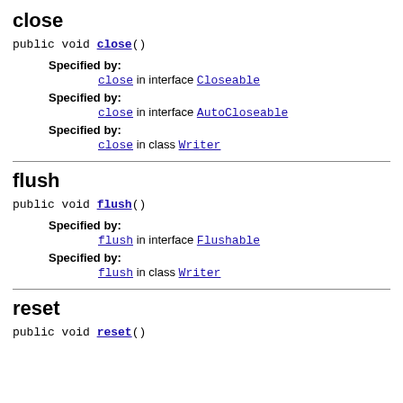close
public void close()
Specified by: close in interface Closeable
Specified by: close in interface AutoCloseable
Specified by: close in class Writer
flush
public void flush()
Specified by: flush in interface Flushable
Specified by: flush in class Writer
reset
public void reset()